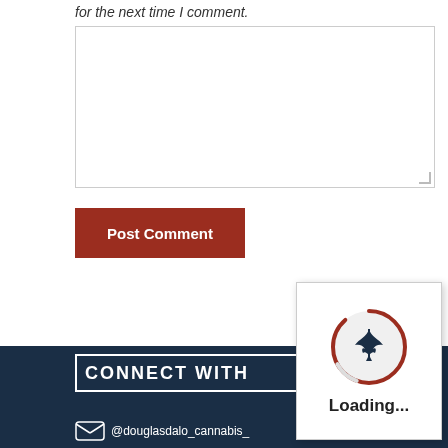for the next time I comment.
[Figure (screenshot): Empty textarea input box for comment entry with resize handle in bottom-right corner]
[Figure (screenshot): Post Comment button, dark red/brown background with white text]
[Figure (screenshot): Loading popup overlay with cannabis leaf logo inside a circle with a red arc spinner, and 'Loading...' text below]
CONNECT WITH
@douglasdalo_cannabis_